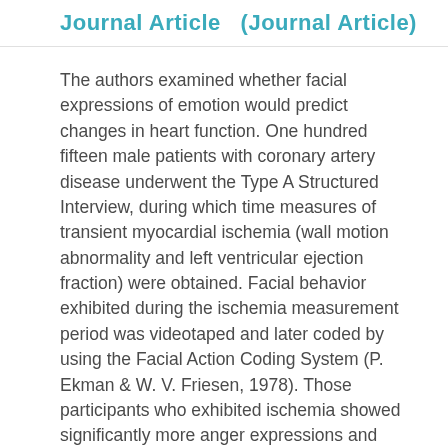Journal Article   (Journal Article)
The authors examined whether facial expressions of emotion would predict changes in heart function. One hundred fifteen male patients with coronary artery disease underwent the Type A Structured Interview, during which time measures of transient myocardial ischemia (wall motion abnormality and left ventricular ejection fraction) were obtained. Facial behavior exhibited during the ischemia measurement period was videotaped and later coded by using the Facial Action Coding System (P. Ekman & W. V. Friesen, 1978). Those participants who exhibited ischemia showed significantly more anger expressions and nonenjoyment smiles than nonischemics. Cook-